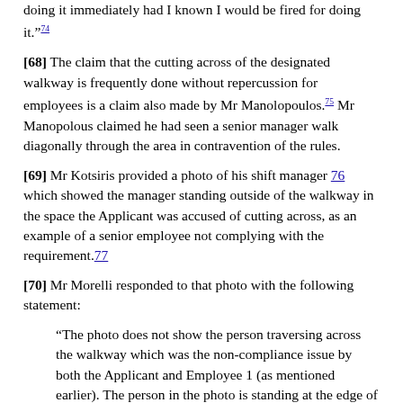doing it immediately had I known I would be fired for doing it.”²74
[68] The claim that the cutting across of the designated walkway is frequently done without repercussion for employees is a claim also made by Mr Manolopoulos.²75 Mr Manopolous claimed he had seen a senior manager walk diagonally through the area in contravention of the rules.
[69] Mr Kotsiris provided a photo of his shift manager 76 which showed the manager standing outside of the walkway in the space the Applicant was accused of cutting across, as an example of a senior employee not complying with the requirement.77
[70] Mr Morelli responded to that photo with the following statement:
“The photo does not show the person traversing across the walkway which was the non-compliance issue by both the Applicant and Employee 1 (as mentioned earlier). The person in the photo is standing at the edge of the space.” 78
[71] During the hearing, Mr Morelli drew a distinction between the person in the photo and the fact that the Applicant cut